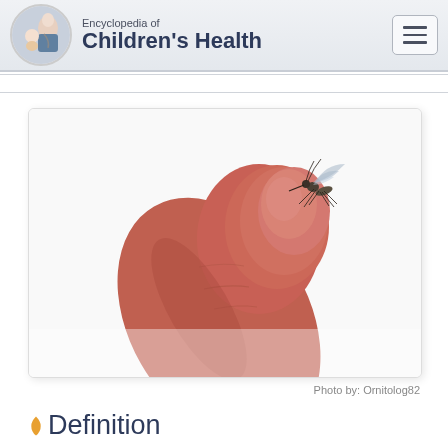Encyclopedia of Children's Health
[Figure (photo): A close-up photo of a fingertip with a small mosquito perched on the tip, against a white background. Photo by: Ornitolog82]
Photo by: Ornitolog82
Definition